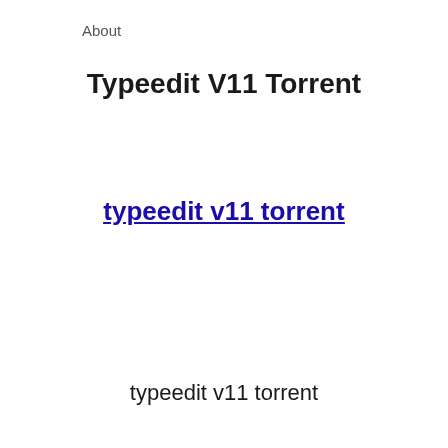About
Typeedit V11 Torrent
typeedit v11 torrent
typeedit v11 torrent